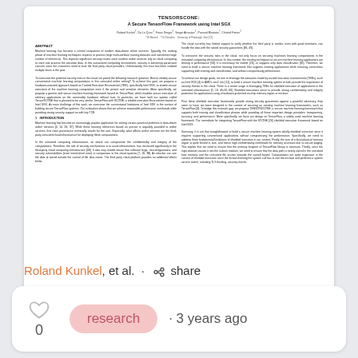[Figure (screenshot): Preview of academic paper titled 'TensorSCONE: A Secure TensorFlow Framework using Intel SGX' by Roland Kunkel et al., showing abstract and introduction columns]
Roland Kunkel, et al. · share
[Figure (infographic): Interaction bar with heart icon showing 0 likes, a 'research' tag pill, and '· 3 years ago' timestamp]